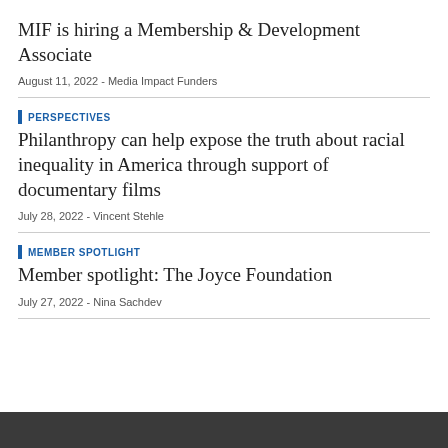MIF is hiring a Membership & Development Associate
August 11, 2022 - Media Impact Funders
PERSPECTIVES
Philanthropy can help expose the truth about racial inequality in America through support of documentary films
July 28, 2022 - Vincent Stehle
MEMBER SPOTLIGHT
Member spotlight: The Joyce Foundation
July 27, 2022 - Nina Sachdev